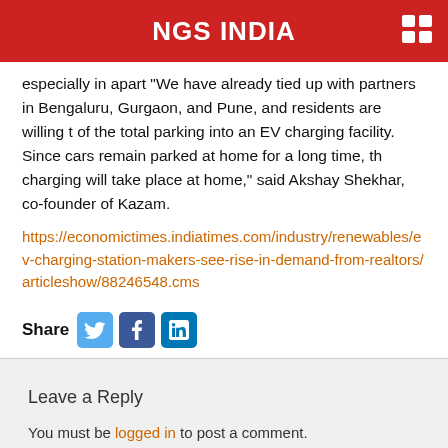NGS INDIA
especially in apart “We have already tied up with partners in Bengaluru, Gurgaon, and Pune, and residents are willing t of the total parking into an EV charging facility. Since cars remain parked at home for a long time, th charging will take place at home,” said Akshay Shekhar, co-founder of Kazam.
https://economictimes.indiatimes.com/industry/renewables/ev-charging-station-makers-see-rise-in-demand-from-realtors/articleshow/88246548.cms
Share
Leave a Reply
You must be logged in to post a comment.